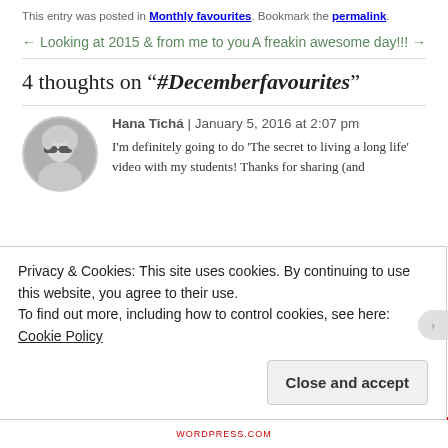This entry was posted in Monthly favourites. Bookmark the permalink.
← Looking at 2015 & from me to you    A freakin awesome day!!! →
4 thoughts on "#Decemberfavourites"
Hana Tichá | January 5, 2016 at 2:07 pm
I'm definitely going to do 'The secret to living a long life' video with my students! Thanks for sharing (and
Privacy & Cookies: This site uses cookies. By continuing to use this website, you agree to their use.
To find out more, including how to control cookies, see here: Cookie Policy
Close and accept